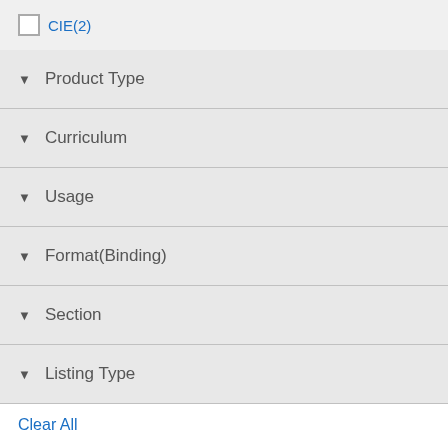CIE(2)
▼ Product Type
▼ Curriculum
▼ Usage
▼ Format(Binding)
▼ Section
▼ Listing Type
Clear All
[Figure (other): Social sharing buttons: email, Facebook, Twitter, Google+]